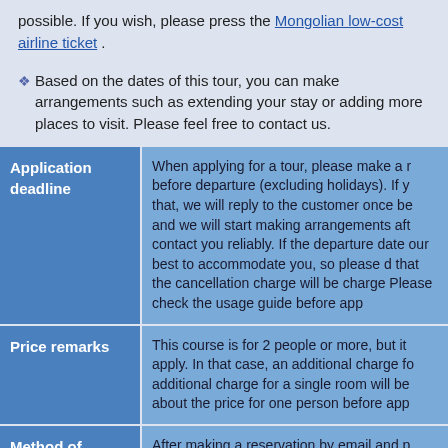possible. If you wish, please press the Mongolian low-cost airline ticket .
Based on the dates of this tour, you can make arrangements such as extending your stay or adding more places to visit. Please feel free to contact us.
|  |  |
| --- | --- |
| Application deadline | When applying for a tour, please make a r... before departure (excluding holidays). If y... that, we will reply to the customer once be... and we will start making arrangements aft... contact you reliably. If the departure date ... our best to accommodate you, so please d... that the cancellation charge will be charge... Please check the usage guide before app... |
| Price remarks | This course is for 2 people or more, but it... apply. In that case, an additional charge fo... additional charge for a single room will be... about the price for one person before app... |
| Method of payment | After making a reservation by email and p... confirmation and invoice to your email . Af... you will transfer 50% of the travel fee to o... After confirming payment, it will be an offic... |